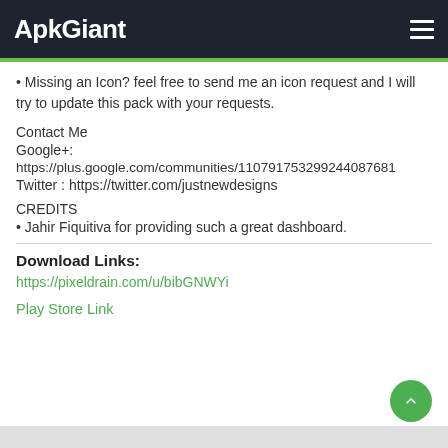ApkGiant
• Missing an Icon? feel free to send me an icon request and I will try to update this pack with your requests.
Contact Me
Google+:
https://plus.google.com/communities/110791753299244087681
Twitter : https://twitter.com/justnewdesigns
CREDITS
• Jahir Fiquitiva for providing such a great dashboard.
Download Links:
https://pixeldrain.com/u/bibGNWYi
Play Store Link